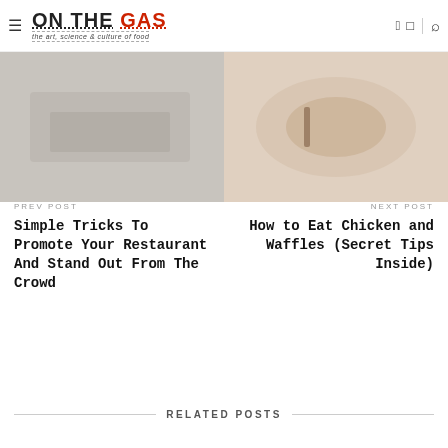ON THE GAS — the art, science & culture of food
[Figure (photo): Left food image placeholder, muted gray tones showing restaurant/food scene]
[Figure (photo): Right food image placeholder, warm beige/tan tones showing chicken and waffles]
PREV POST
Simple Tricks To Promote Your Restaurant And Stand Out From The Crowd
NEXT POST
How to Eat Chicken and Waffles (Secret Tips Inside)
RELATED POSTS